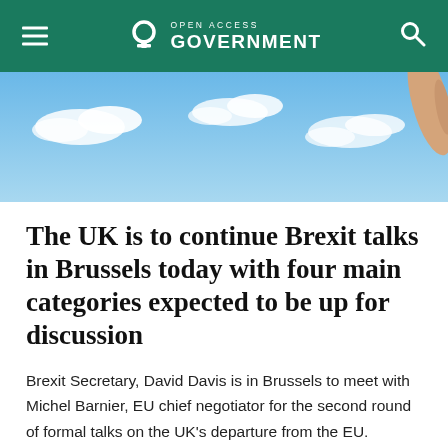Open Access Government
[Figure (photo): Sky with clouds, partial view of a hand reaching up, blue sky background]
The UK is to continue Brexit talks in Brussels today with four main categories expected to be up for discussion
Brexit Secretary, David Davis is in Brussels to meet with Michel Barnier, EU chief negotiator for the second round of formal talks on the UK's departure from the EU.